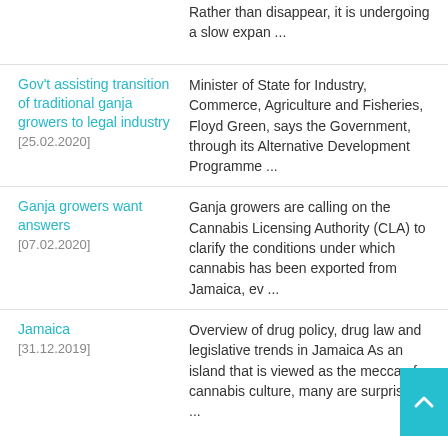Rather than disappear, it is undergoing a slow expan ...
Gov't assisting transition of traditional ganja growers to legal industry [25.02.2020] | Minister of State for Industry, Commerce, Agriculture and Fisheries, Floyd Green, says the Government, through its Alternative Development Programme ...
Ganja growers want answers [07.02.2020] | Ganja growers are calling on the Cannabis Licensing Authority (CLA) to clarify the conditions under which cannabis has been exported from Jamaica, ev ...
Jamaica [31.12.2019] | Overview of drug policy, drug law and legislative trends in Jamaica As an island that is viewed as the mecca of cannabis culture, many are surprised ...